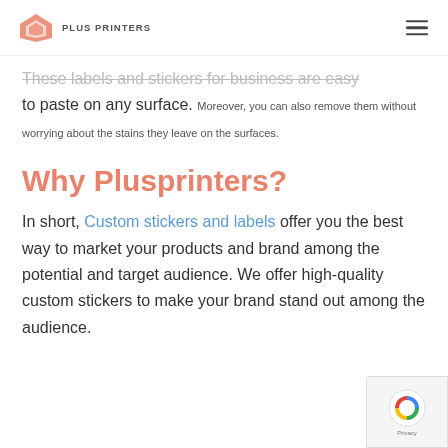PLUS PRINTERS
These labels and stickers for business are easy to paste on any surface. Moreover, you can also remove them without worrying about the stains they leave on the surfaces.
Why Plusprinters?
In short, Custom stickers and labels offer you the best way to market your products and brand among the potential and target audience. We offer high-quality custom stickers to make your brand stand out among the audience.